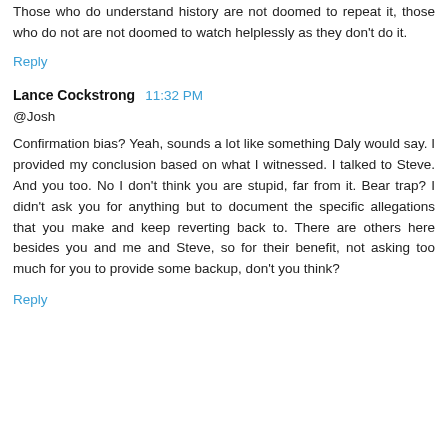Those who do understand history are not doomed to repeat it, those who do not are not doomed to watch helplessly as they don't do it.
Reply
Lance Cockstrong  11:32 PM
@Josh
Confirmation bias? Yeah, sounds a lot like something Daly would say. I provided my conclusion based on what I witnessed. I talked to Steve. And you too. No I don't think you are stupid, far from it. Bear trap? I didn't ask you for anything but to document the specific allegations that you make and keep reverting back to. There are others here besides you and me and Steve, so for their benefit, not asking too much for you to provide some backup, don't you think?
Reply